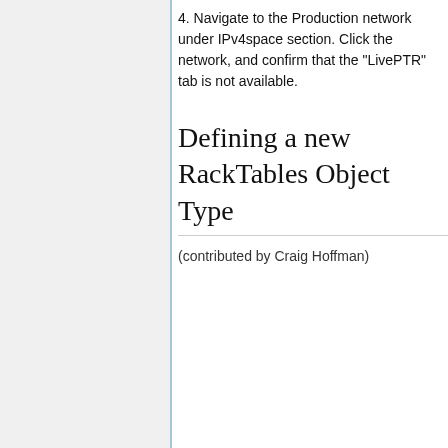4. Navigate to the Production network under IPv4space section. Click the network, and confirm that the "LivePTR" tab is not available.
Defining a new RackTables Object Type
(contributed by Craig Hoffman)
[Figure (other): Dashed border box with yellow highlighted area inside, representing a content placeholder or note box]